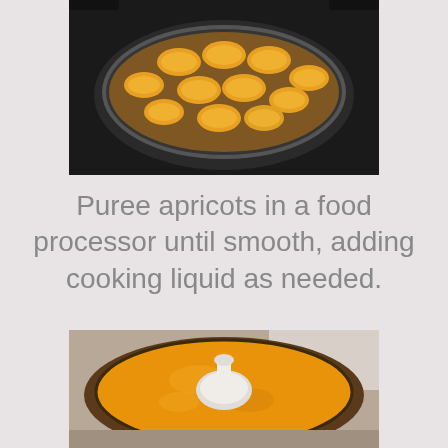[Figure (photo): Overhead view of apricot halves cooking in a dark skillet on a stovetop burner]
Puree apricots in a food processor until smooth, adding cooking liquid as needed.
[Figure (photo): Top-down view of a food processor bowl containing smooth orange apricot puree with a white center piece visible]